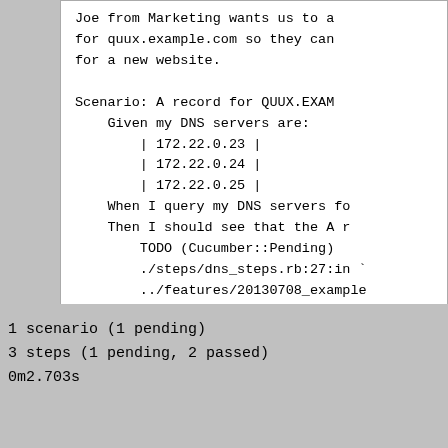Joe from Marketing wants us to add an A record for quux.example.com so they can use it for a new website.

Scenario: A record for QUUX.EXAMPLE.COM
    Given my DNS servers are:
      | 172.22.0.23 |
      | 172.22.0.24 |
      | 172.22.0.25 |
    When I query my DNS servers fo
    Then I should see that the A r
      TODO (Cucumber::Pending)
      ./steps/dns_steps.rb:27:in `.
      ../features/20130708_example
1 scenario (1 pending)
3 steps (1 pending, 2 passed)
0m2.703s